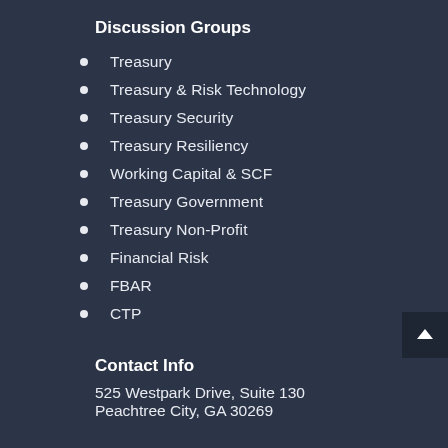Discussion Groups
Treasury
Treasury & Risk Technology
Treasury Security
Treasury Resiliency
Working Capital & SCF
Treasury Government
Treasury Non-Profit
Financial Risk
FBAR
CTP
Contact Info
525 Westpark Drive, Suite 130
Peachtree City, GA 30269